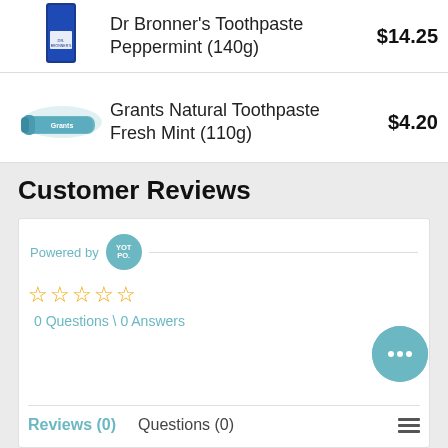[Figure (photo): Product image of Dr Bronner's Toothpaste Peppermint 140g (partially visible at top)]
Dr Bronner's Toothpaste Peppermint (140g)
$14.25
[Figure (photo): Product image of Grants Natural Toothpaste Fresh Mint 110g]
Grants Natural Toothpaste Fresh Mint (110g)
$4.20
Customer Reviews
Powered by YOTPO.
☆☆☆☆☆
0 Questions \ 0 Answers
Reviews (0)   Questions (0)